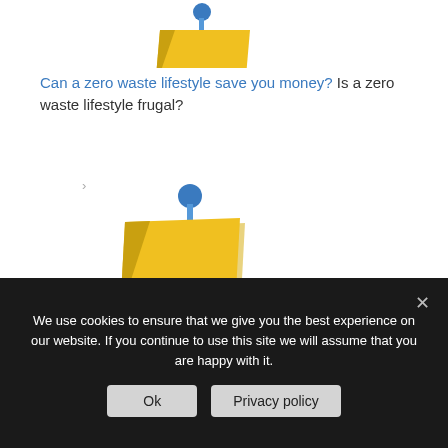[Figure (illustration): Yellow sticky note icon with a blue pushpin at the top, partially cropped at the top of the page]
Can a zero waste lifestyle save you money? Is a zero waste lifestyle frugal?
[Figure (illustration): Yellow sticky note icon with a blue pushpin, full icon visible]
General In this section MyZeroWaste publishes a series of original articles detailing methods, information and tips for…
Share  Facebook  LinkedIn  Twitter  Email
We use cookies to ensure that we give you the best experience on our website. If you continue to use this site we will assume that you are happy with it.